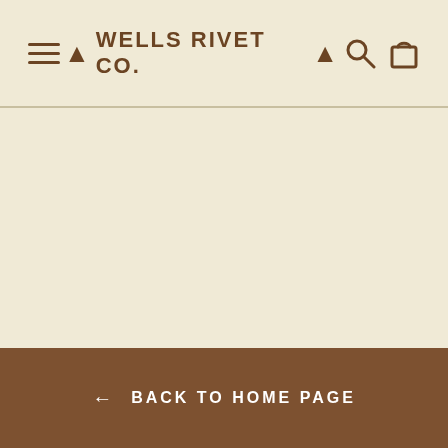WELLS RIVET CO.
← BACK TO HOME PAGE